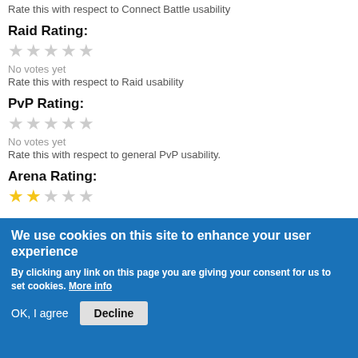Rate this with respect to Connect Battle usability
Raid Rating:
[Figure (other): 5 empty grey stars for Raid Rating]
No votes yet
Rate this with respect to Raid usability
PvP Rating:
[Figure (other): 5 empty grey stars for PvP Rating]
No votes yet
Rate this with respect to general PvP usability.
Arena Rating:
[Figure (other): 2 filled yellow stars and 3 empty grey stars for Arena Rating]
We use cookies on this site to enhance your user experience
By clicking any link on this page you are giving your consent for us to set cookies. More info
OK, I agree
Decline